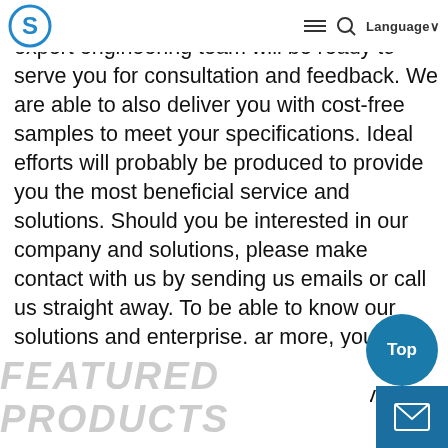Language
well received in our main industry. Our expert engineering team will be ready to serve you for consultation and feedback. We are able to also deliver you with cost-free samples to meet your specifications. Ideal efforts will probably be produced to provide you the most beneficial service and solutions. Should you be interested in our company and solutions, please make contact with us by sending us emails or call us straight away. To be able to know our solutions and enterprise. ar more, you'll be able to come to our factory to see it. We'll constantly welcome guests from all over the world to our firm. o build business enterprise. elations with us. Please feel absolutely free to speak to us for organization. nd we believe we will share the best trading practical experience with all our merchants.
FEATURED PRODUCTS